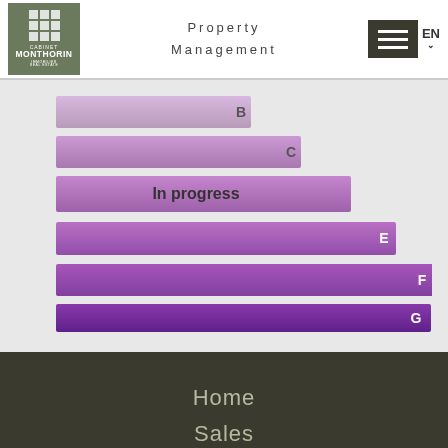[Figure (logo): Cabinet Monthorin Immobilier Real Estate logo - olive green square with white grid and text]
Property Management
[Figure (infographic): Energy performance chart with bars labeled B, C, In progress (D), E, F, G in shades of purple, each bar longer than the previous]
Home
Sales